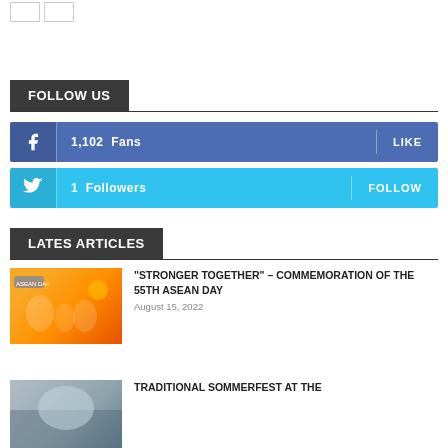[Figure (other): Two small white checkbox-style boxes at top left]
FOLLOW US
[Figure (infographic): Facebook button showing 1,102 Fans with LIKE action on blue background]
[Figure (infographic): Twitter button showing 1 Followers with FOLLOW action on cyan background]
LATES ARTICLES
[Figure (photo): Thumbnail image for ASEAN article with orange/yellow gradient and figures]
“STRONGER TOGETHER” – COMMEMORATION OF THE 55TH ASEAN DAY
August 15, 2022
[Figure (photo): Thumbnail image for Sommerfest article]
TRADITIONAL SOMMERFEST AT THE